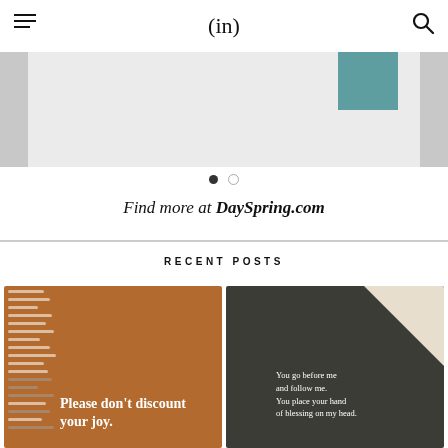(in)
[Figure (screenshot): Partial view of a slider/carousel showing a light grey content card with a teal accent at top right]
[Figure (other): Carousel navigation dots: one filled dark, one empty outline]
Find more at DaySpring.com
RECENT POSTS
[Figure (photo): Orange/brown card with decorative white stripe pattern on left and bold white text reading: Please don't discount your joy.]
[Figure (photo): Dark olive/charcoal card with beige triangle top-right and white script text reading: You go before me and follow me. You place your hand of blessing on my head.]